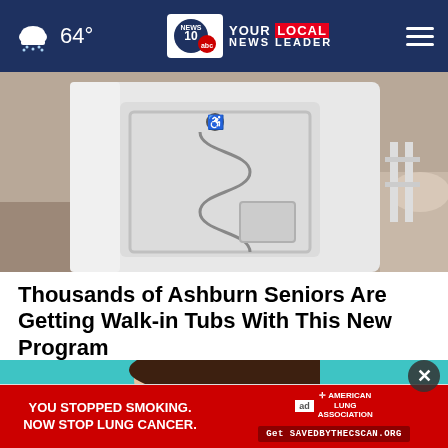64° NEWS 10 YOUR LOCAL NEWS LEADER
[Figure (photo): Walk-in bathtub with handicap accessibility symbol on the door, shown outdoors against a rock/dirt background]
Thousands of Ashburn Seniors Are Getting Walk-in Tubs With This New Program
Smart Consumer Update
[Figure (photo): Young woman holding a dark credit card up to partially cover her face, against a teal/turquoise background]
[Figure (infographic): Ad banner: 'YOU STOPPED SMOKING. NOW STOP LUNG CANCER.' with American Lung Association branding and URL SAVEDBYTHECSCAN.ORG]